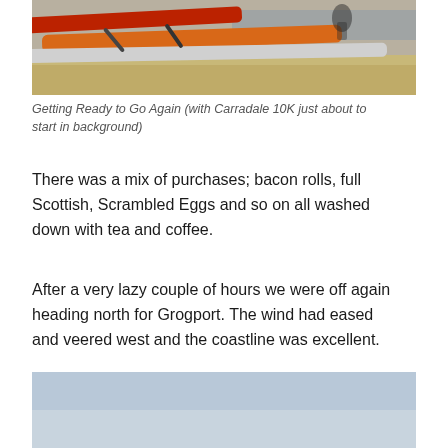[Figure (photo): Kayaks on a beach, including red and orange sea kayaks resting on sand, with people visible in the background near the water.]
Getting Ready to Go Again (with Carradale 10K just about to start in background)
There was a mix of purchases; bacon rolls, full Scottish, Scrambled Eggs and so on all washed down with tea and coffee.
After a very lazy couple of hours we were off again heading north for Grogport. The wind had eased and veered west and the coastline was excellent.
[Figure (photo): Pale blue sky and water scene, partially visible at the bottom of the page.]